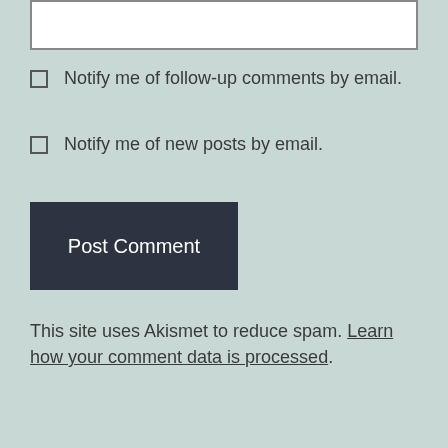[Figure (other): Text input/textarea box at top of page]
Notify me of follow-up comments by email.
Notify me of new posts by email.
Post Comment
This site uses Akismet to reduce spam. Learn how your comment data is processed.